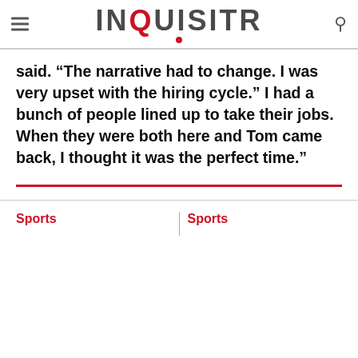INQUISITR
said. “The narrative had to change. I was very upset with the hiring cycle.” I had a bunch of people lined up to take their jobs. When they were both here and Tom came back, I thought it was the perfect time.”
Sports    Sports